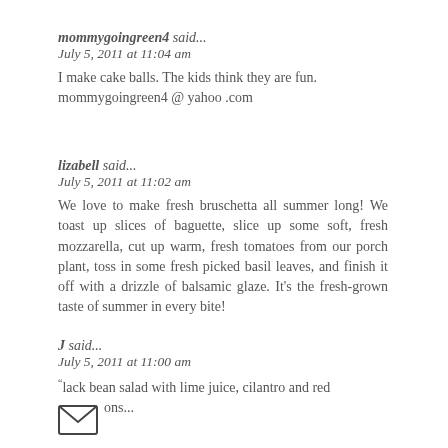mommygoingreen4 said...
July 5, 2011 at 11:04 am
I make cake balls. The kids think they are fun. mommygoingreen4 @ yahoo .com
lizabell said...
July 5, 2011 at 11:02 am
We love to make fresh bruschetta all summer long! We toast up slices of baguette, slice up some soft, fresh mozzarella, cut up warm, fresh tomatoes from our porch plant, toss in some fresh picked basil leaves, and finish it off with a drizzle of balsamic glaze. It's the fresh-grown taste of summer in every bite!
J said...
July 5, 2011 at 11:00 am
Black bean salad with lime juice, cilantro and red onions...
[Figure (illustration): Envelope icon (mail symbol) — a small rectangle with a V-shaped flap outline, representing an email or contact icon.]